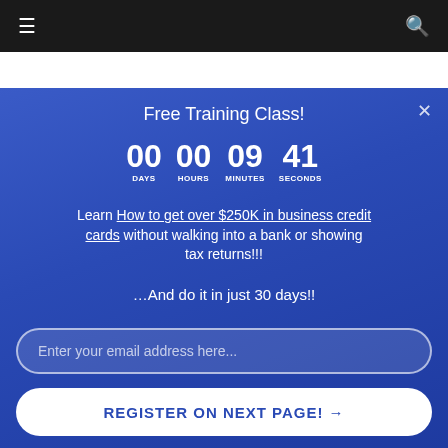Navigation bar with hamburger menu and search icon
Why?
Free Training Class!
00 DAYS  00 HOURS  09 MINUTES  41 SECONDS
Learn How to get over $250K in business credit cards without walking into a bank or showing tax returns!!!
...And do it in just 30 days!!
Enter your email address here...
REGISTER ON NEXT PAGE! →